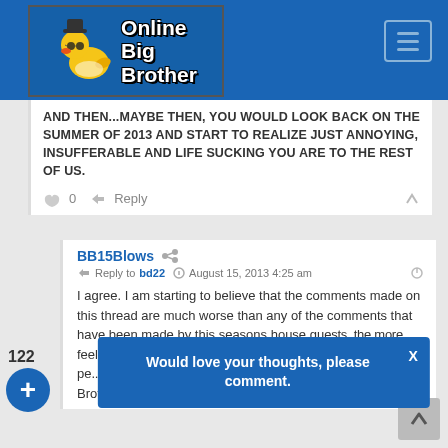Online Big Brother
AND THEN...MAYBE THEN, YOU WOULD LOOK BACK ON THE SUMMER OF 2013 AND START TO REALIZE JUST ANNOYING, INSUFFERABLE AND LIFE SUCKING YOU ARE TO THE REST OF US.
0  Reply
BB15Blows  Reply to bd22  August 15, 2013 4:25 am
I agree. I am starting to believe that the comments made on this thread are much worse than any of the comments that have been made by this seasons house guests. the more I think that if the house guests were m... a lot of pe... everyone seems to forget that it is CBS/Big Brother that hand
Would love your thoughts, please comment.